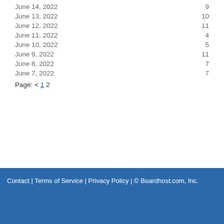June 14, 2022	9
June 13, 2022	10
June 12, 2022	11
June 11, 2022	4
June 10, 2022	5
June 9, 2022	11
June 8, 2022	7
June 7, 2022	7
Page: < 1 2
Contact | Terms of Service | Privacy Policy | © Boardhost.com, Inc.   Th